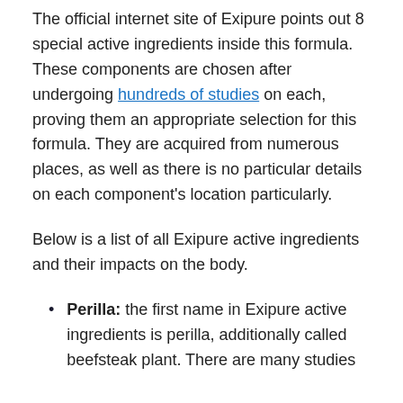The official internet site of Exipure points out 8 special active ingredients inside this formula. These components are chosen after undergoing hundreds of studies on each, proving them an appropriate selection for this formula. They are acquired from numerous places, as well as there is no particular details on each component's location particularly.
Below is a list of all Exipure active ingredients and their impacts on the body.
Perilla: the first name in Exipure active ingredients is perilla, additionally called beefsteak plant. There are many studies